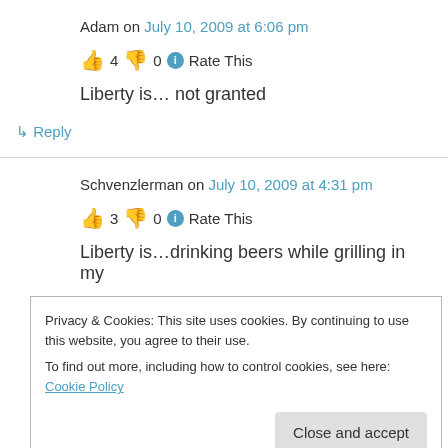Adam on July 10, 2009 at 6:06 pm
👍 4 👎 0 ℹ Rate This
Liberty is… not granted
↳ Reply
Schvenzlerman on July 10, 2009 at 4:31 pm
👍 3 👎 0 ℹ Rate This
Liberty is…drinking beers while grilling in my
Privacy & Cookies: This site uses cookies. By continuing to use this website, you agree to their use.
To find out more, including how to control cookies, see here: Cookie Policy
Close and accept